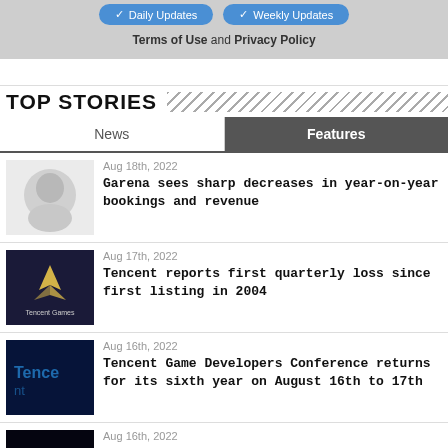Daily Updates | Weekly Updates
Terms of Use and Privacy Policy
TOP STORIES
News | Features
Aug 18th, 2022 — Garena sees sharp decreases in year-on-year bookings and revenue
Aug 17th, 2022 — Tencent reports first quarterly loss since first listing in 2004
Aug 16th, 2022 — Tencent Game Developers Conference returns for its sixth year on August 16th to 17th
Aug 16th, 2022 — NetEase Games and CCP Games team up to bring Project Discovery to mobile